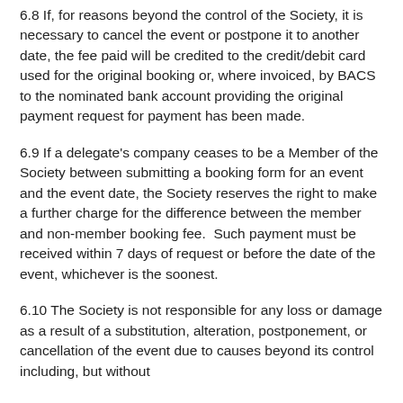6.8 If, for reasons beyond the control of the Society, it is necessary to cancel the event or postpone it to another date, the fee paid will be credited to the credit/debit card used for the original booking or, where invoiced, by BACS to the nominated bank account providing the original payment request for payment has been made.
6.9 If a delegate's company ceases to be a Member of the Society between submitting a booking form for an event and the event date, the Society reserves the right to make a further charge for the difference between the member and non-member booking fee.  Such payment must be received within 7 days of request or before the date of the event, whichever is the soonest.
6.10 The Society is not responsible for any loss or damage as a result of a substitution, alteration, postponement, or cancellation of the event due to causes beyond its control including, but without